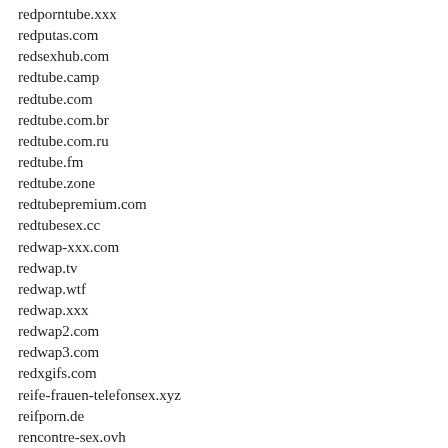redporntube.xxx
redputas.com
redsexhub.com
redtube.camp
redtube.com
redtube.com.br
redtube.com.ru
redtube.fm
redtube.zone
redtubepremium.com
redtubesex.cc
redwap-xxx.com
redwap.tv
redwap.wtf
redwap.xxx
redwap2.com
redwap3.com
redxgifs.com
reife-frauen-telefonsex.xyz
reifporn.de
rencontre-sex.ovh
rentnersextube.com
repicsx.com
republic-of-korea.com
restmature.com